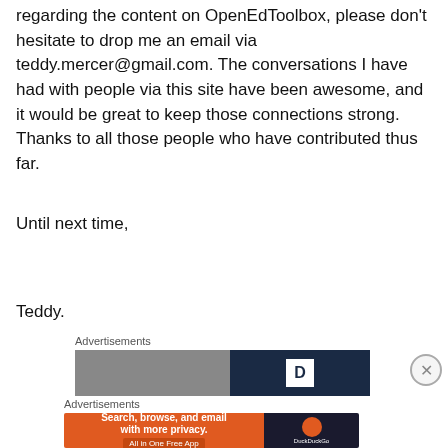regarding the content on OpenEdToolbox, please don't hesitate to drop me an email via teddy.mercer@gmail.com. The conversations I have had with people via this site have been awesome, and it would be great to keep those connections strong. Thanks to all those people who have contributed thus far.
Until next time,
Teddy.
Advertisements
[Figure (other): Advertisement banner with photo and dark blue panel with letter D]
Advertisements
[Figure (other): DuckDuckGo advertisement: Search, browse, and email with more privacy. All in One Free App]